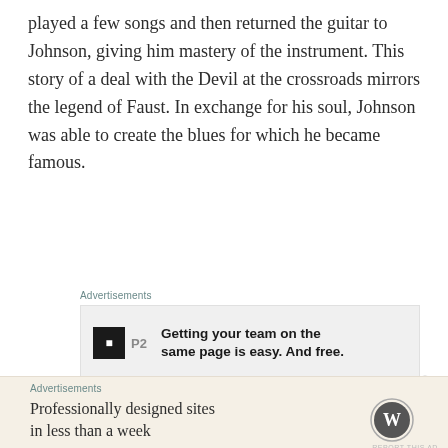played a few songs and then returned the guitar to Johnson, giving him mastery of the instrument. This story of a deal with the Devil at the crossroads mirrors the legend of Faust. In exchange for his soul, Johnson was able to create the blues for which he became famous.
[Figure (other): Advertisement banner: P2 logo with text 'Getting your team on the same page is easy. And free.']
The story was initially told of an older bluesman, Tommy Johnson (no relation), but he died in 1956, aged 60. It was more hauntingly apposite for Robert Johnson, who died in 1938, aged only 27, after a troubled life and an itinerant career. His only recordings, made a year before his death,
[Figure (other): Advertisement banner: WordPress logo with text 'Professionally designed sites in less than a week']